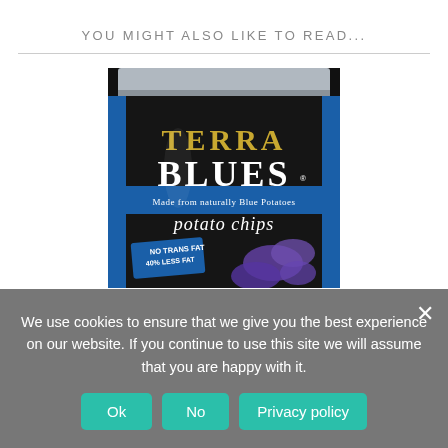YOU MIGHT ALSO LIKE TO READ...
[Figure (photo): Terra Blues potato chips bag - black bag with blue accents, text reads TERRA BLUES Made from naturally Blue Potatoes potato chips NO TRANS FAT LESS FAT]
We use cookies to ensure that we give you the best experience on our website. If you continue to use this site we will assume that you are happy with it.